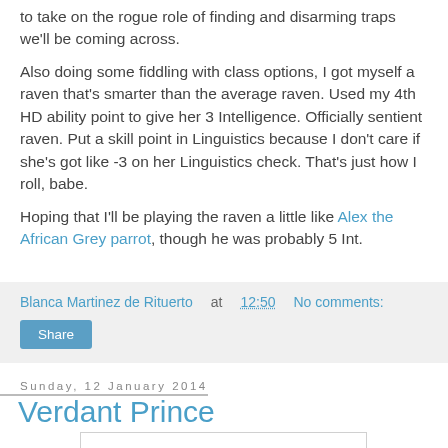to take on the rogue role of finding and disarming traps we'll be coming across.
Also doing some fiddling with class options, I got myself a raven that's smarter than the average raven. Used my 4th HD ability point to give her 3 Intelligence. Officially sentient raven. Put a skill point in Linguistics because I don't care if she's got like -3 on her Linguistics check. That's just how I roll, babe.
Hoping that I'll be playing the raven a little like Alex the African Grey parrot, though he was probably 5 Int.
Blanca Martinez de Rituerto at 12:50   No comments:
Share
Sunday, 12 January 2014
Verdant Prince
[Figure (illustration): Partial view of an illustration at the bottom of the page]